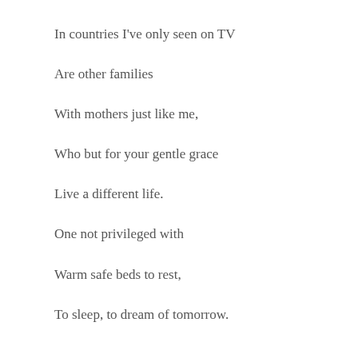In countries I've only seen on TV
Are other families
With mothers just like me,
Who but for your gentle grace
Live a different life.
One not privileged with
Warm safe beds to rest,
To sleep, to dream of tomorrow.